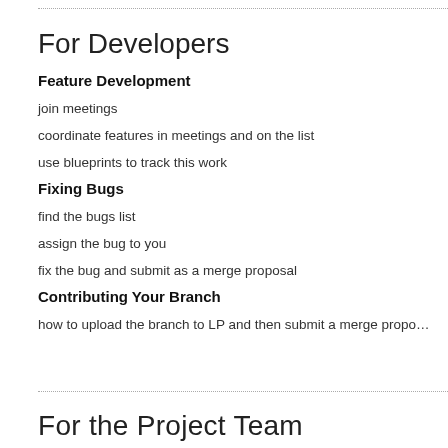For Developers
Feature Development
join meetings
coordinate features in meetings and on the list
use blueprints to track this work
Fixing Bugs
find the bugs list
assign the bug to you
fix the bug and submit as a merge proposal
Contributing Your Branch
how to upload the branch to LP and then submit a merge propo…
For the Project Team